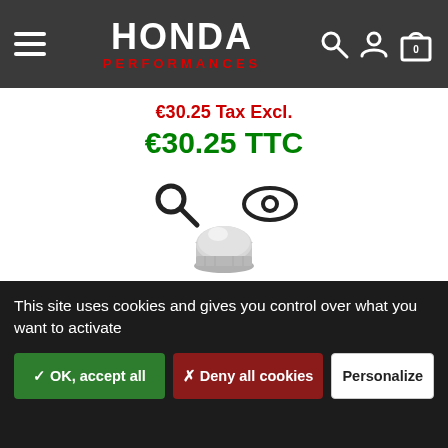HONDA PERFORMANCES
€30.25 Tax Excl.
€30.25 TTC
[Figure (photo): Small silver dome/acorn nut product photo at the bottom of the product listing area]
This site uses cookies and gives you control over what you want to activate
✓ OK, accept all
✗ Deny all cookies
Personalize